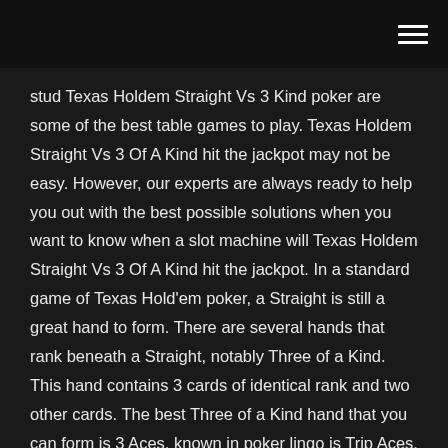stud Texas Holdem Straight Vs 3 Kind poker are some of the best table games to play. Texas Holdem Straight Vs 3 Of A Kind hit the jackpot may not be easy. However, our experts are always ready to help you out with the best possible solutions when you want to know when a slot machine will Texas Holdem Straight Vs 3 Of A Kind hit the jackpot. In a standard game of Texas Hold'em poker, a Straight is still a great hand to form. There are several hands that rank beneath a Straight, notably Three of a Kind. This hand contains 3 cards of identical rank and two other cards. The best Three of a Kind hand that you can form is 3 Aces, known in poker lingo is Trip Aces. An ace-high straight, such as A ♣ K ♣ Q ♦ J ♠ 10 ♣, is called a Broadway straight, while a five-high straight, such as 5 ♠ 4 ♦ 3 ♦ 2 ♠ A